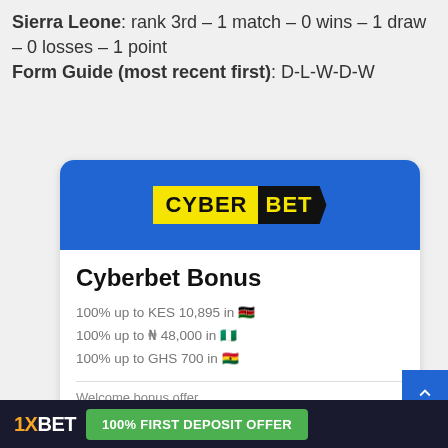Sierra Leone: rank 3rd – 1 match – 0 wins – 1 draw – 0 losses – 1 point
Form Guide (most recent first): D-L-W-D-W
[Figure (infographic): Cyberbet bonus advertisement card with blue header showing CYBER BET logo in yellow and black, white body with 'Cyberbet Bonus' heading, bonus details (100% up to KES 10,895, 100% up to ₦ 48,000, 100% up to GHS 700), welcome bonus offer text, orange 'Exclusive for new customers' text, and yellow 'Grab bonus!' button]
[Figure (infographic): 1XBET bottom banner advertisement with dark background, 1XBET logo in white/orange, and green '100% FIRST DEPOSIT OFFER' button]